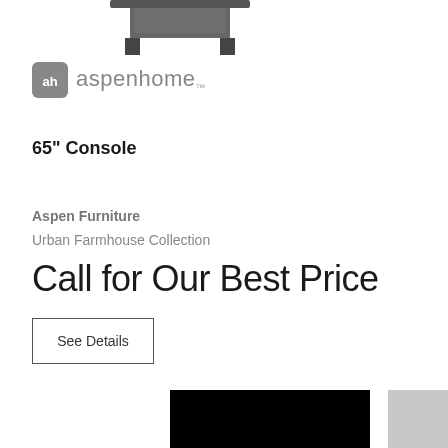[Figure (photo): Partial view of a furniture item (console) at the top of the page, cropped]
[Figure (logo): Aspenhome logo: circular icon with 'ah' text beside 'aspenhome.' wordmark in gray]
65" Console
Aspen Furniture
Urban Farmhouse Collection
Call for Our Best Price
See Details
[Figure (photo): Bottom portion of a furniture product photo, black background visible]
[Figure (other): Gray color swatch in bottom right corner]